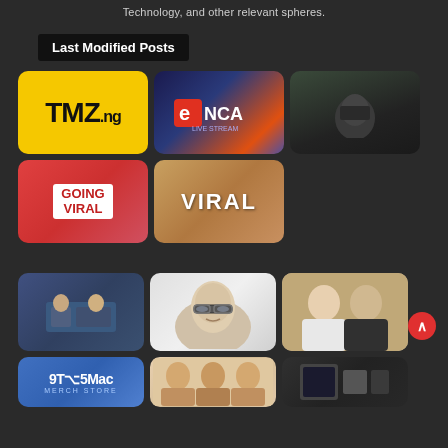Technology, and other relevant spheres.
Last Modified Posts
[Figure (photo): TMZ.ng yellow logo thumbnail]
[Figure (photo): eNCA live stream thumbnail with city skyline]
[Figure (photo): Dark scene with person in car]
[Figure (photo): Going Viral sign held up]
[Figure (photo): VIRAL text in craft/flatlay style]
[Figure (photo): Office meeting scene]
[Figure (photo): Man with glasses headshot]
[Figure (photo): Young couple photo]
[Figure (photo): 9to5Mac Merch Store banner]
[Figure (photo): Women group photo]
[Figure (photo): Dark device/tech image]